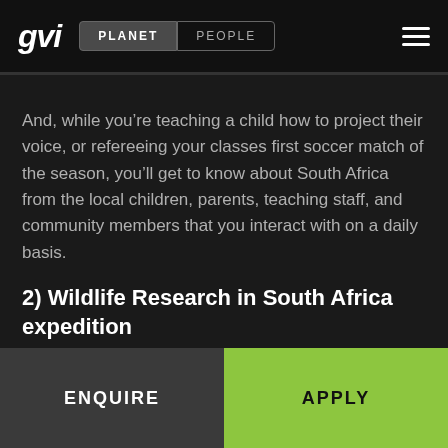gvi  PLANET  PEOPLE
And, while you’re teaching a child how to project their voice, or refereeing your classes first soccer match of the season, you’ll get to know about South Africa from the local children, parents, teaching staff, and community members that you interact with on a daily basis.
2) Wildlife Research in South Africa expedition
ENQUIRE
APPLY